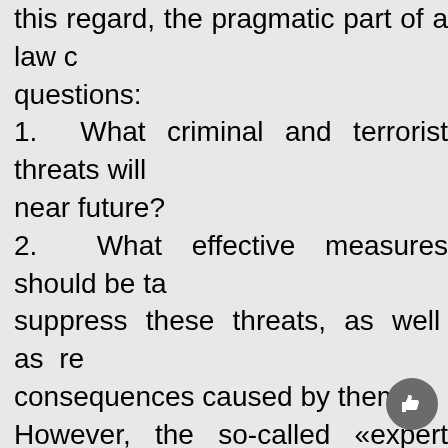this regard, the pragmatic part of a law c questions: 1. What criminal and terrorist threats will near future? 2. What effective measures should be ta suppress these threats, as well as re consequences caused by them? However, the so-called «expert community answers to these questions. Despite the fa materials on this topic are published dail around the world, the vast majority of th discussions about the possible historical conspiracy reasons for these phenomena are made based on these theories.